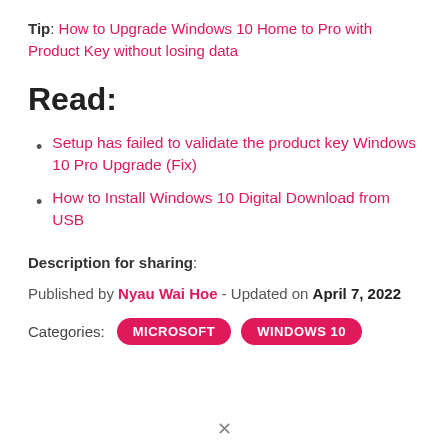Tip: How to Upgrade Windows 10 Home to Pro with Product Key without losing data
Read:
Setup has failed to validate the product key Windows 10 Pro Upgrade (Fix)
How to Install Windows 10 Digital Download from USB
Description for sharing:
Published by Nyau Wai Hoe - Updated on April 7, 2022
Categories: MICROSOFT  WINDOWS 10